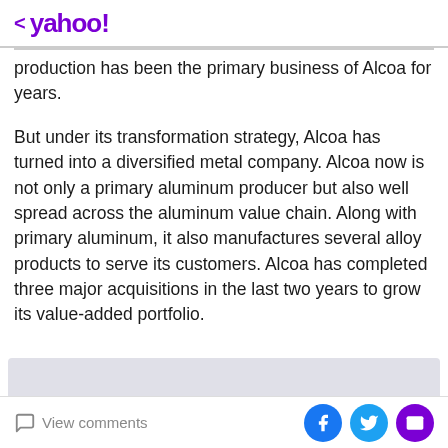< yahoo!
production has been the primary business of Alcoa for years.
But under its transformation strategy, Alcoa has turned into a diversified metal company. Alcoa now is not only a primary aluminum producer but also well spread across the aluminum value chain. Along with primary aluminum, it also manufactures several alloy products to serve its customers. Alcoa has completed three major acquisitions in the last two years to grow its value-added portfolio.
[Figure (other): Advertisement or placeholder gray box]
View comments | Share via Facebook, Twitter, Email